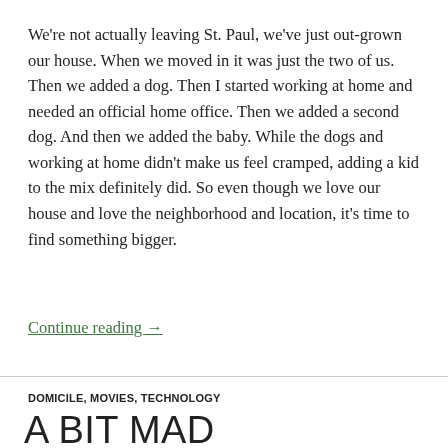We're not actually leaving St. Paul, we've just out-grown our house. When we moved in it was just the two of us. Then we added a dog. Then I started working at home and needed an official home office. Then we added a second dog. And then we added the baby. While the dogs and working at home didn't make us feel cramped, adding a kid to the mix definitely did. So even though we love our house and love the neighborhood and location, it's time to find something bigger.
Continue reading →
DOMICILE, MOVIES, TECHNOLOGY
A BIT MAD